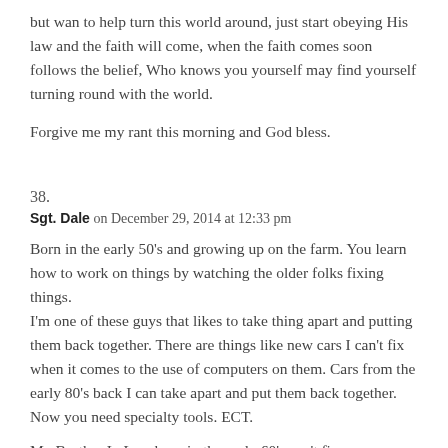but wan to help turn this world around, just start obeying His law and the faith will come, when the faith comes soon follows the belief, Who knows you yourself may find yourself turning round with the world.
Forgive me my rant this morning and God bless.
38.
Sgt. Dale on December 29, 2014 at 12:33 pm
Born in the early 50’s and growing up on the farm. You learn how to work on things by watching the older folks fixing things.
I’m one of these guys that likes to take thing apart and putting them back together. There are things like new cars I can’t fix when it comes to the use of computers on them. Cars from the early 80’s back I can take apart and put them back together. Now you need specialty tools. ECT.
My Brother In Law born in the early 60’s can’t fix any